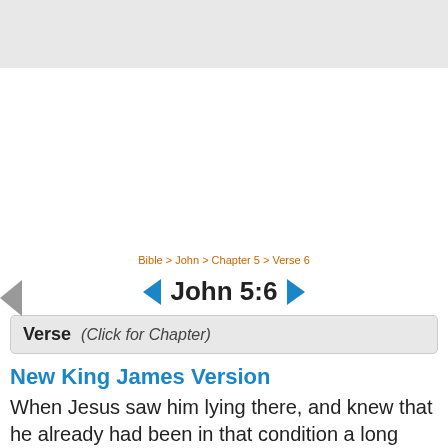Bible > John > Chapter 5 > Verse 6
John 5:6
Verse (Click for Chapter)
New King James Version
When Jesus saw him lying there, and knew that he already had been in that condition a long time, He said to him, “Do you want to be made well?”